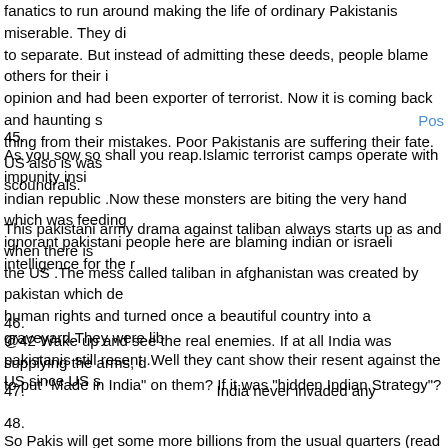fanatics to run around making the life of ordinary Pakistanis miserable. They did to separate. But instead of admitting these deeds, people blame others for their opinion and had been exporter of terrorist. Now it is coming back and haunting thing from their mistakes. Poor Pakistanis are suffering their fate. US also is was scoundrals.
Post
45.
As you sow so shall you reap.Islamic terrorist camps operate with impunity insi indian republic .Now these monsters are biting the very hand which was feeding ignorant pakistani people here are blaming indian or israeli intelligence for the r
This pakistani army drama against taliban always starts up as and when there is the US .The mess called taliban in afghanistan was created by pakistan which d human rights and turned once a beautiful country into a graveyard.They were li pakistanis still resent .Well they cant show their resent against the US since US
46.
@42 Wake up and see the real enemies. If at all India was supplying the arms, d to put "Made in India" on them? If it was "hidden Indian Strategy"?
47.                                                                    India never invaded any
48.
So Pakis will get some more billions from the usual quarters (read US) and m